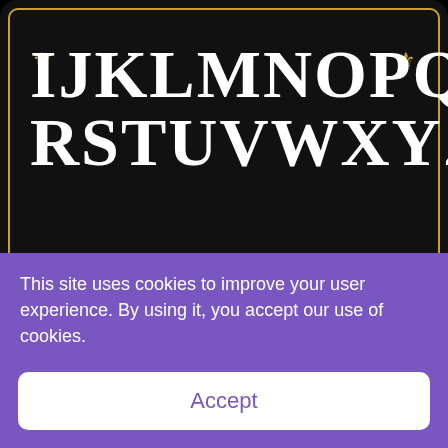[Figure (illustration): Black background decorative font specimen panel showing uppercase Gothic/blackletter style letters IJKLMNOPQ and RSTUVWXYZ in white, with gold ornamental borders and fleur-de-lis / star corner decorations]
[Figure (illustration): Black background decorative font specimen panel showing Gothic/blackletter style numerals 1234567890 and special characters ~'!@#$%^&*() in white, with gold ornamental borders and corner decorations]
This site uses cookies to improve your user experience. By using it, you accept our use of cookies.
Accept